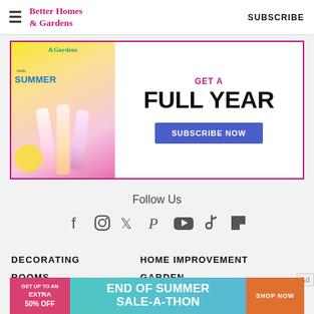Better Homes & Gardens   SUBSCRIBE
[Figure (infographic): Magazine subscription ad with Better Homes & Gardens summer cover showing popsicles, with 'GET A FULL YEAR' text and 'SUBSCRIBE NOW' button]
Follow Us
[Figure (infographic): Social media icons row: Facebook, Instagram, Twitter, Pinterest, YouTube, TikTok, Flipboard]
DECORATING
HOME IMPROVEMENT
ROOMS
GARDEN
[Figure (infographic): Bottom banner ad: 'GET UP TO AN EXTRA 50% OFF' | 'END OF SUMMER SALE-A-THON' | 'SHOP NOW' button]